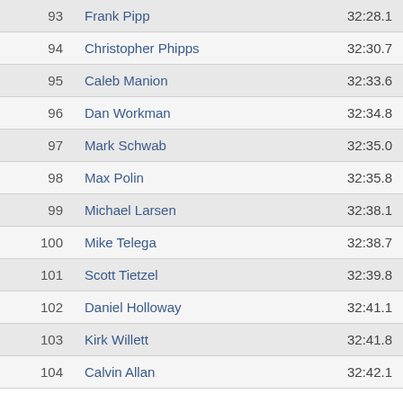| Rank | Name | Time |
| --- | --- | --- |
| 93 | Frank Pipp | 32:28.1 |
| 94 | Christopher Phipps | 32:30.7 |
| 95 | Caleb Manion | 32:33.6 |
| 96 | Dan Workman | 32:34.8 |
| 97 | Mark Schwab | 32:35.0 |
| 98 | Max Polin | 32:35.8 |
| 99 | Michael Larsen | 32:38.1 |
| 100 | Mike Telega | 32:38.7 |
| 101 | Scott Tietzel | 32:39.8 |
| 102 | Daniel Holloway | 32:41.1 |
| 103 | Kirk Willett | 32:41.8 |
| 104 | Calvin Allan | 32:42.1 |